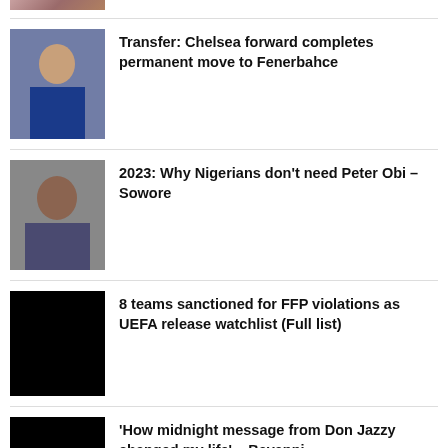[Figure (photo): Partial thumbnail of a person at the top of the page (cropped)]
Transfer: Chelsea forward completes permanent move to Fenerbahce
2023: Why Nigerians don't need Peter Obi – Sowore
8 teams sanctioned for FFP violations as UEFA release watchlist (Full list)
'How midnight message from Don Jazzy changed my life' – Bayanni